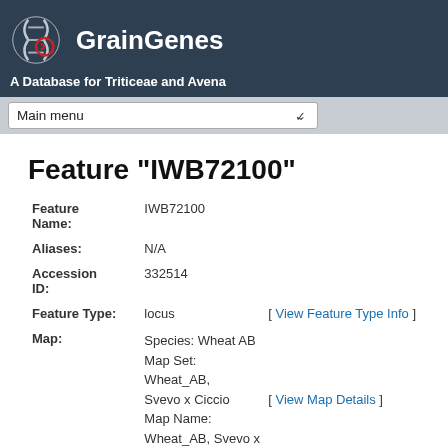GrainGenes — A Database for Triticeae and Avena
Feature "IWB72100"
| Field | Value | Action |
| --- | --- | --- |
| Feature Name: | IWB72100 |  |
| Aliases: | N/A |  |
| Accession ID: | 332514 |  |
| Feature Type: | locus | [ View Feature Type Info ] |
| Map: | Species: Wheat AB
Map Set: Wheat_AB, Svevo x Ciccio
Map Name: Wheat_AB, Svevo x Ciccio 3A_1 | [ View Map Details ] |
| Start: | 0 |  |